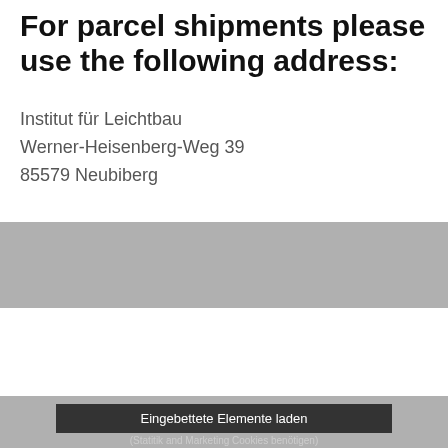For parcel shipments please use the following address:
Institut für Leichtbau
Werner-Heisenberg-Weg 39
85579 Neubiberg
[Figure (screenshot): Cookie consent modal dialog overlaying a gray website banner. Contains title 'This website uses cookies', descriptive text, 'Accept cookies' (dark button) and 'Cookie settings' (outlined button), and a close button labeled 'Accept and close ✕'. Below is a dark button 'Eingebettete Elemente laden'.]